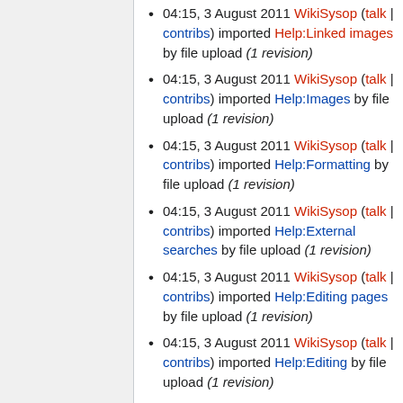04:15, 3 August 2011 WikiSysop (talk | contribs) imported Help:Linked images by file upload (1 revision)
04:15, 3 August 2011 WikiSysop (talk | contribs) imported Help:Images by file upload (1 revision)
04:15, 3 August 2011 WikiSysop (talk | contribs) imported Help:Formatting by file upload (1 revision)
04:15, 3 August 2011 WikiSysop (talk | contribs) imported Help:External searches by file upload (1 revision)
04:15, 3 August 2011 WikiSysop (talk | contribs) imported Help:Editing pages by file upload (1 revision)
04:15, 3 August 2011 WikiSysop (talk | contribs) imported Help:Editing by file upload (1 revision)
04:15, 3 August 2011 WikiSysop (talk | contribs) imported Help:Deleting a